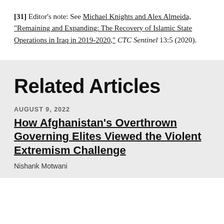[31] Editor's note: See Michael Knights and Alex Almeida, "Remaining and Expanding: The Recovery of Islamic State Operations in Iraq in 2019-2020," CTC Sentinel 13:5 (2020).
Related Articles
AUGUST 9, 2022
How Afghanistan's Overthrown Governing Elites Viewed the Violent Extremism Challenge
Nishank Motwani